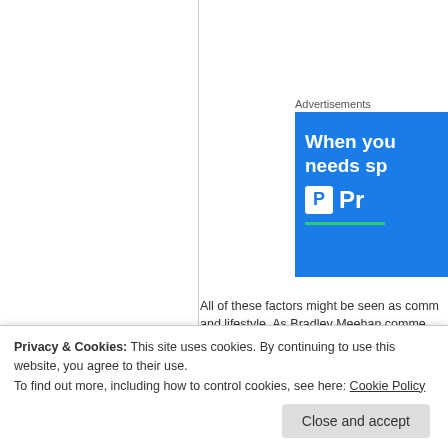Advertisements
[Figure (illustration): Blue advertisement banner partially visible showing 'When you needs sp' and a parking/brand logo 'Pr' with green underline]
All of these factors might be seen as comm and lifestyle. As Bradley Meehan comme proactive and increase our awareness of t el
Privacy & Cookies: This site uses cookies. By continuing to use this website, you agree to their use.
To find out more, including how to control cookies, see here: Cookie Policy
Close and accept